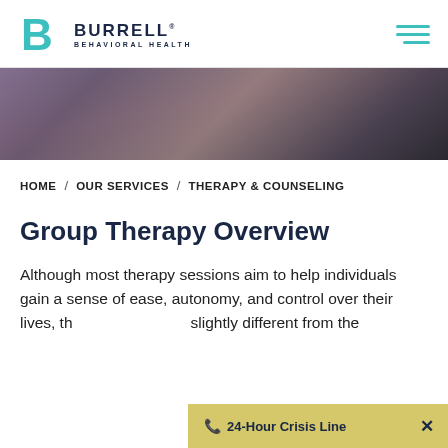[Figure (logo): Burrell Behavioral Health logo with teal B icon and text]
[Figure (photo): Hero banner showing people from above, group therapy context]
HOME / OUR SERVICES / THERAPY & COUNSELING
Group Therapy Overview
Although most therapy sessions aim to help individuals gain a sense of ease, autonomy, and control over their lives, th... slightly different from the
[Figure (infographic): 24-Hour Crisis Line notification banner in gold/yellow color with X close button]